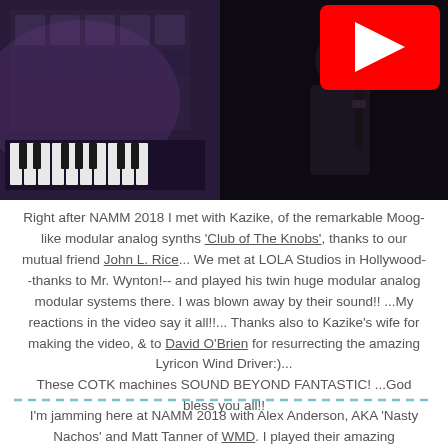[Figure (screenshot): Dark photo of modular synthesizer equipment at NAMM 2018, with a YouTube play button overlay visible in the upper right corner. Shows analog synth keyboards and rack modules in a dimly lit setting with a person visible.]
Right after NAMM 2018 I met with Kazike, of the remarkable Moog-like modular analog synths 'Club of The Knobs', thanks to our mutual friend John L. Rice... We met at LOLA Studios in Hollywood--thanks to Mr. Wynton!-- and played his twin huge modular analog modular systems there. I was blown away by their sound!! ...My reactions in the video say it all!!... Thanks also to Kazike's wife for making the video, & to David O'Brien for resurrecting the amazing Lyricon Wind Driver:)...
These COTK machines SOUND BEYOND FANTASTIC! ...God bless you all!!
I'm jamming here at NAMM 2018 with Alex Anderson, AKA 'Nasty Nachos' and Matt Tanner of WMD. I played their amazing